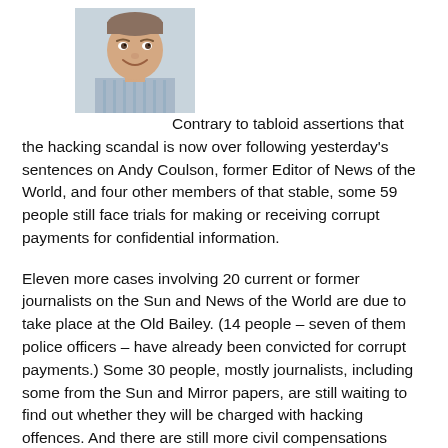[Figure (photo): Headshot photo of a man wearing a striped shirt, smiling, cropped to head and shoulders]
Contrary to tabloid assertions that the hacking scandal is now over following yesterday's sentences on Andy Coulson, former Editor of News of the World, and four other members of that stable, some 59 people still face trials for making or receiving corrupt payments for confidential information.

Eleven more cases involving 20 current or former journalists on the Sun and News of the World are due to take place at the Old Bailey. (14 people – seven of them police officers – have already been convicted for corrupt payments.) Some 30 people, mostly journalists, including some from the Sun and Mirror papers, are still waiting to find out whether they will be charged with hacking offences. And there are still more civil compensations cases due to be heard, the settlement of 718 having cost Murdoch's News International over